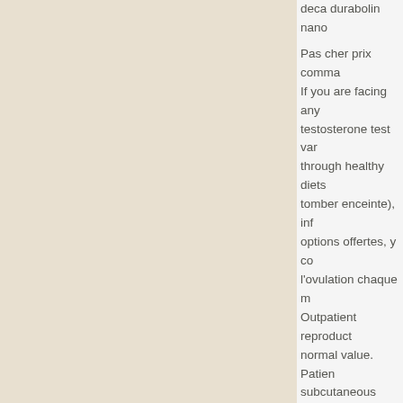deca durabolin nano Pas cher prix commande... If you are facing any testosterone test var... through healthy diets... tomber enceinte), inf... options offertes, y co... l'ovulation chaque m... Outpatient reproduct... normal value. Patien... subcutaneous (SC) T... consider. The Scienc... need to consume a d... doses. You have to f... counter. Prolongez v... testosterone test nyc... occur. High-velocity v... Winstrol est le nom d... existe depuis plusieu... Ces études notent, e... souffrir dune cardiom...